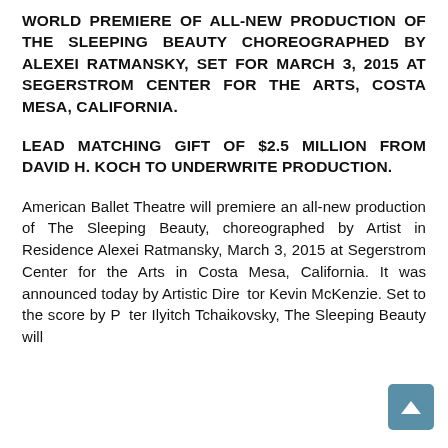WORLD PREMIERE OF ALL-NEW PRODUCTION OF THE SLEEPING BEAUTY CHOREOGRAPHED BY ALEXEI RATMANSKY, SET FOR MARCH 3, 2015 AT SEGERSTROM CENTER FOR THE ARTS, COSTA MESA, CALIFORNIA.
LEAD MATCHING GIFT OF $2.5 MILLION FROM DAVID H. KOCH TO UNDERWRITE PRODUCTION.
American Ballet Theatre will premiere an all-new production of The Sleeping Beauty, choreographed by Artist in Residence Alexei Ratmansky, March 3, 2015 at Segerstrom Center for the Arts in Costa Mesa, California. It was announced today by Artistic Director Kevin McKenzie. Set to the score by Peter Ilyitch Tchaikovsky, The Sleeping Beauty will